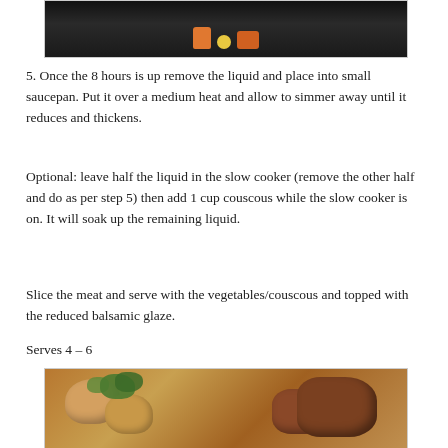[Figure (photo): Dark cooking pan with vegetables including orange and yellow pieces visible at the bottom portion of the image]
5. Once the 8 hours is up remove the liquid and place into small saucepan. Put it over a medium heat and allow to simmer away until it reduces and thickens.
Optional: leave half the liquid in the slow cooker (remove the other half and do as per step 5) then add 1 cup couscous while the slow cooker is on. It will soak up the remaining liquid.
Slice the meat and serve with the vegetables/couscous and topped with the reduced balsamic glaze.
Serves 4 – 6
[Figure (photo): Cooked meat dish with potatoes, orange vegetables, and fresh green herbs garnish in a bowl or plate]